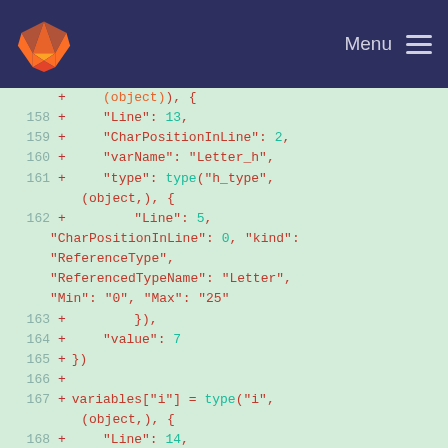GitLab Menu
[Figure (screenshot): Code diff viewer showing lines 158-171 of a source file with added lines (+) highlighted in green. Code contains JSON-like object construction with fields Line, CharPositionInLine, varName, type, value for Letter_h and Letter_i variables.]